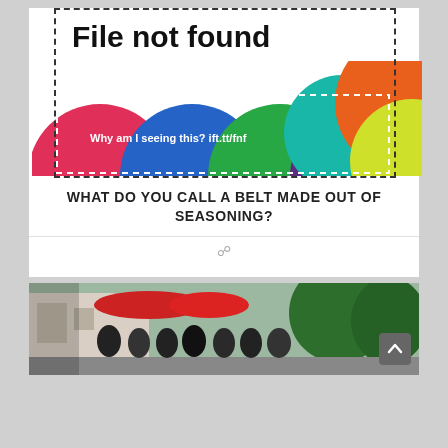[Figure (screenshot): File not found error image with colorful circles and text 'Why am I seeing this? ift.tt/fnf' on a white background with dashed border]
WHAT DO YOU CALL A BELT MADE OUT OF SEASONING?
☉
[Figure (photo): Group of people standing outside in front of a building with umbrellas and trees]